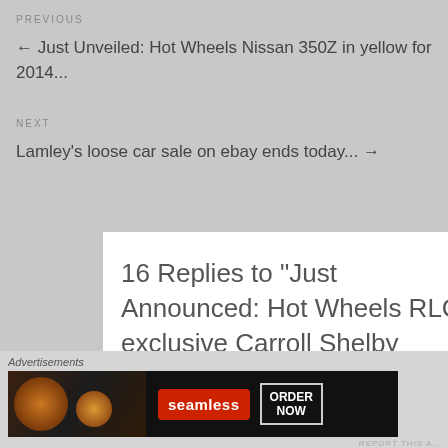PREVIOUS
← Just Unveiled: Hot Wheels Nissan 350Z in yellow for 2014...
NEXT
Lamley's loose car sale on ebay ends today... →
16 Replies to "Just Announced: Hot Wheels RLC exclusive Carroll Shelby SCCA Toyota 2000GT..."
Advertisements
[Figure (photo): Seamless food delivery advertisement banner showing pizza and ORDER NOW button]